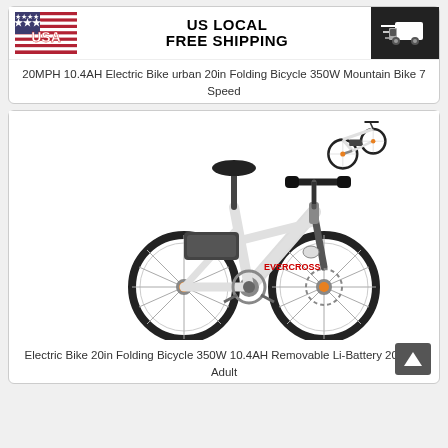[Figure (infographic): US LOCAL FREE SHIPPING banner with USA flag on left, text in center, and delivery truck icon on dark background on right]
20MPH 10.4AH Electric Bike urban 20in Folding Bicycle 350W Mountain Bike 7 Speed
[Figure (photo): White folding electric bike 20in with black frame details, shown from side view with a smaller inset showing the bike folded. Battery mounted on rear rack.]
Electric Bike 20in Folding Bicycle 350W 10.4AH Removable Li-Battery 20MPH Adult